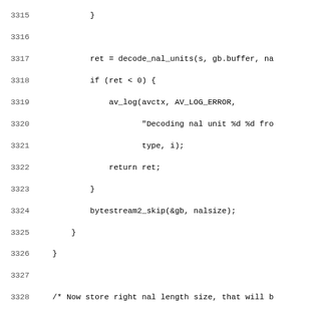Source code listing lines 3315-3347, C code for HEVC decoder